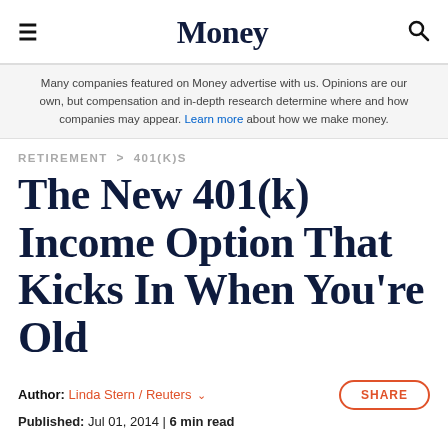Money
Many companies featured on Money advertise with us. Opinions are our own, but compensation and in-depth research determine where and how companies may appear. Learn more about how we make money.
RETIREMENT > 401(K)S
The New 401(k) Income Option That Kicks In When You're Old
Author: Linda Stern / Reuters  Published: Jul 01, 2014 | 6 min read